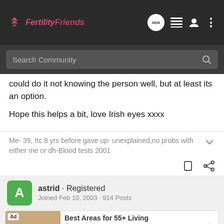FertilityFriends
Search Community
could do it not knowing the person well, but at least its an option.
Hope this helps a bit, love Irish eyes xxxx
Me- 39, ttc 8 yrs before gave up- unexplained,no probs with either me or dh-Blood tests 2001
astrid · Registered
Joined Feb 10, 2003 · 914 Posts
Ad
Best Areas for 55+ Living
Cresswind
Learn more
#7 · Sep